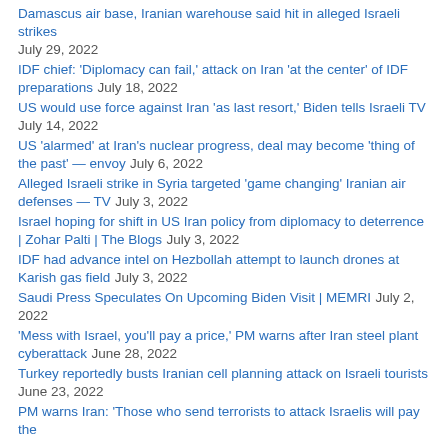Damascus air base, Iranian warehouse said hit in alleged Israeli strikes July 29, 2022
IDF chief: 'Diplomacy can fail,' attack on Iran 'at the center' of IDF preparations July 18, 2022
US would use force against Iran 'as last resort,' Biden tells Israeli TV July 14, 2022
US 'alarmed' at Iran's nuclear progress, deal may become 'thing of the past' — envoy July 6, 2022
Alleged Israeli strike in Syria targeted 'game changing' Iranian air defenses — TV July 3, 2022
Israel hoping for shift in US Iran policy from diplomacy to deterrence | Zohar Palti | The Blogs July 3, 2022
IDF had advance intel on Hezbollah attempt to launch drones at Karish gas field July 3, 2022
Saudi Press Speculates On Upcoming Biden Visit | MEMRI July 2, 2022
'Mess with Israel, you'll pay a price,' PM warns after Iran steel plant cyberattack June 28, 2022
Turkey reportedly busts Iranian cell planning attack on Israeli tourists June 23, 2022
PM warns Iran: 'Those who send terrorists to attack Israelis will pay the